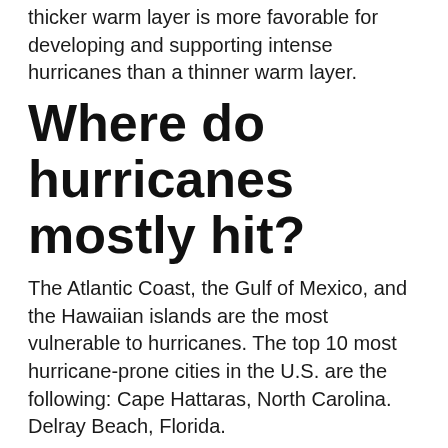thicker warm layer is more favorable for developing and supporting intense hurricanes than a thinner warm layer.
Where do hurricanes mostly hit?
The Atlantic Coast, the Gulf of Mexico, and the Hawaiian islands are the most vulnerable to hurricanes. The top 10 most hurricane-prone cities in the U.S. are the following: Cape Hattaras, North Carolina. Delray Beach, Florida.
Are hurricanes associated with high or low pressure?